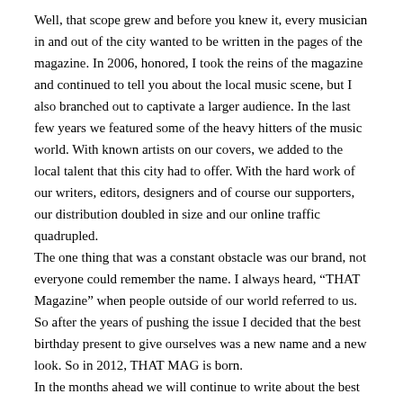Well, that scope grew and before you knew it, every musician in and out of the city wanted to be written in the pages of the magazine.  In 2006, honored, I took the reins of the magazine and continued to tell you about the local music scene, but I also branched out to captivate a larger audience.  In the last few years we featured some of the heavy hitters of the music world.  With known artists on our covers, we added to the local talent that this city had to offer.  With the hard work of our writers, editors, designers and of course our supporters, our distribution doubled in size and our online traffic quadrupled.
The one thing that was a constant obstacle was our brand, not everyone could remember the name.  I always heard, “THAT Magazine” when people outside of our world referred to us.   So after the years of pushing the issue I decided that the best birthday present to give ourselves was a new name and a new look.  So in 2012, THAT MAG is born.
In the months ahead we will continue to write about the best talent Philadelphia has to offer.  We will tell you about the heavy hitters and when they are coming to town, showcase the local talent through live performance, sponsor the big festivals, have our own radio show, more podcasts, free concert tickets, contests and a more interactive website.  We want THAT MAG to be the one and only source for music goers to